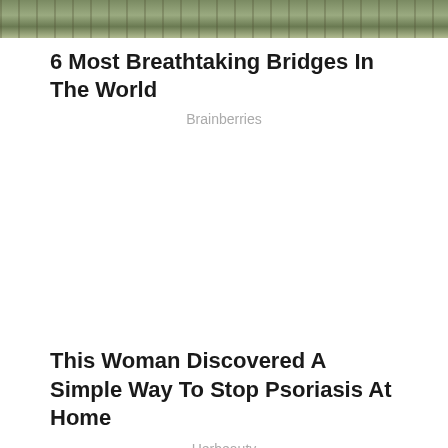[Figure (photo): Aerial or elevated photo of a bridge or pathway structure, partially cropped at top of page]
6 Most Breathtaking Bridges In The World
Brainberries
This Woman Discovered A Simple Way To Stop Psoriasis At Home
Herbeauty
[Figure (photo): Close-up photo of a pink/red bowl or round container on pink background, partially cropped at bottom of page]